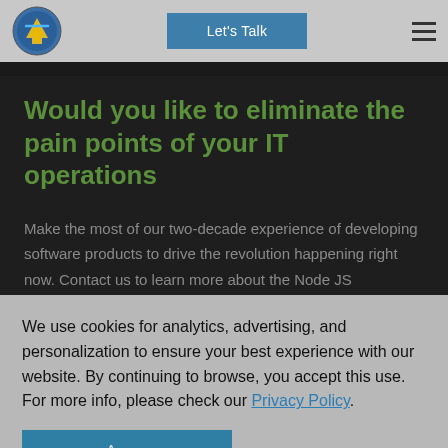Let's Talk
Would you like to eliminate the pain points of your IT operations
Make the most of our two-decade experience of developing software products to drive the revolution happening right now. Contact us to learn more about the Node JS
We use cookies for analytics, advertising, and personalization to ensure your best experience with our website. By continuing to browse, you accept this use. For more info, please check our Privacy Policy.
Agree